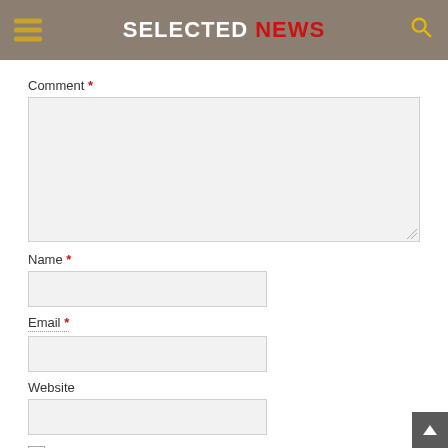SELECTED NEWS
Comment *
Name *
Email *
Website
Save my name, email, and website in this browser for the next time I comment.
Post Comment